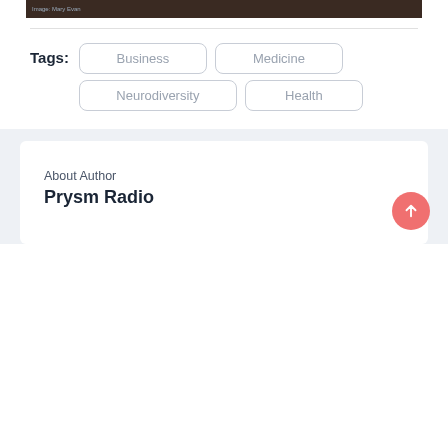[Figure (photo): Dark brownish image strip with small caption text reading 'Image: Mary Evan']
Tags:
Business
Medicine
Neurodiversity
Health
About Author
Prysm Radio